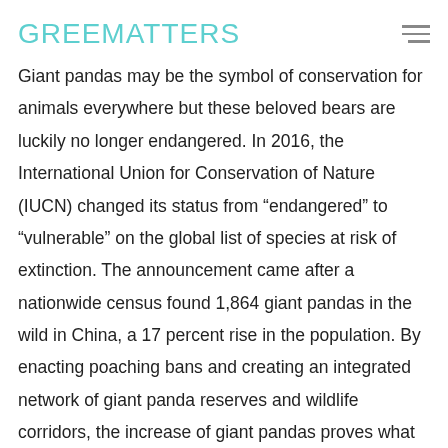GREENMATTERS
Giant pandas may be the symbol of conservation for animals everywhere but these beloved bears are luckily no longer endangered. In 2016, the International Union for Conservation of Nature (IUCN) changed its status from “endangered” to “vulnerable” on the global list of species at risk of extinction. The announcement came after a nationwide census found 1,864 giant pandas in the wild in China, a 17 percent rise in the population. By enacting poaching bans and creating an integrated network of giant panda reserves and wildlife corridors, the increase of giant pandas proves what can happen when environmental policies are put in